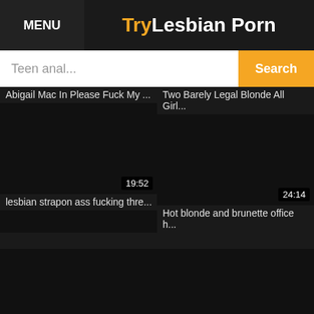MENU | TryLesbian Porn
Teen anal... Search
Abigail Mac In Please Fuck My ...
Two Barely Legal Blonde All Girl...
[Figure (other): Video thumbnail black, duration 19:52]
[Figure (other): Video thumbnail black, duration 24:14]
lesbian strapon ass fucking thre...
Hot blonde and brunette office h...
[Figure (other): Video thumbnail black, duration 06:14]
[Figure (other): Video thumbnail black, duration 51:32]
Bbw lesbian uses strapless dild...
I Fucked My Mom In Law On M...